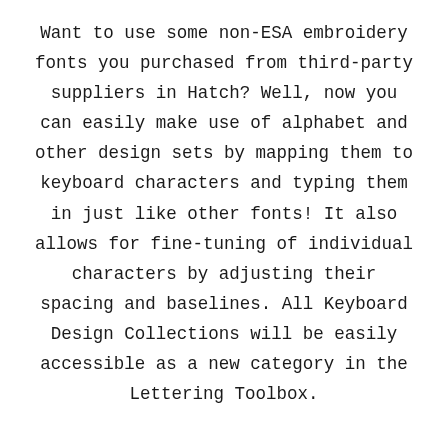Want to use some non-ESA embroidery fonts you purchased from third-party suppliers in Hatch? Well, now you can easily make use of alphabet and other design sets by mapping them to keyboard characters and typing them in just like other fonts! It also allows for fine-tuning of individual characters by adjusting their spacing and baselines. All Keyboard Design Collections will be easily accessible as a new category in the Lettering Toolbox.